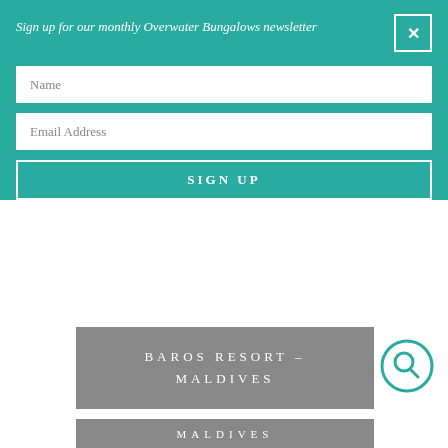Sign up for our monthly Overwater Bungalows newsletter
Name
Email Address
SIGN UP
BAROS RESORT – MALDIVES
MALDIVES